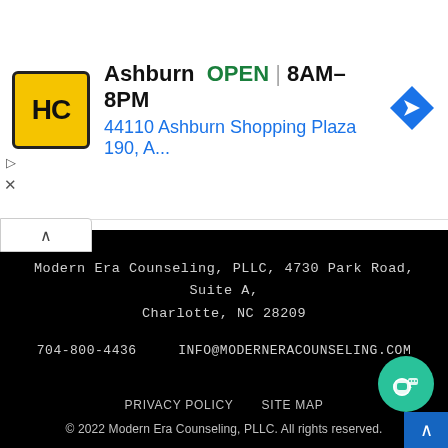[Figure (screenshot): Advertisement banner for Healing Connections (HC) in Ashburn showing logo, OPEN status, hours 8AM-8PM, and address 44110 Ashburn Shopping Plaza 190, A...]
Modern Era Counseling, PLLC, 4730 Park Road, Suite A, Charlotte, NC 28209
704-800-4436    INFO@MODERNERACOUNSELING.COM
PRIVACY POLICY    SITE MAP
© 2022 Modern Era Counseling, PLLC. All rights reserved.